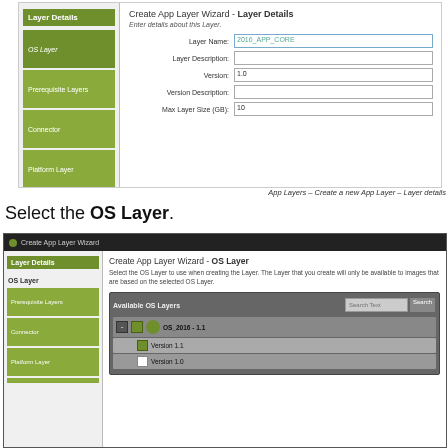[Figure (screenshot): Create App Layer Wizard - Layer Details form with sidebar showing Layer Details, OS Layer, Prerequisite Layers, Connector, Platform Layer items. Form fields: Layer Name (2016_APP_CORE), Layer Description, Version (1.0), Version Description, Max Layer Size (GB) (10).]
App Layers – Create a new App Layer – Layer details
Select the OS Layer.
[Figure (screenshot): Create App Layer Wizard - OS Layer screen with sidebar. Available OS Layers panel showing OS_2016 - 1.1 with Version 1.1 (selected/checked) and Version 1.0. Search Text box and Search button visible.]